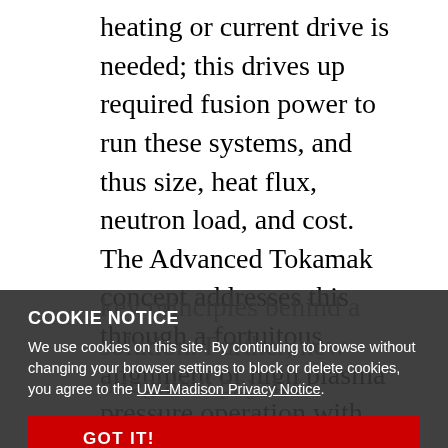heating or current drive is needed; this drives up required fusion power to run these systems, and thus size, heat flux, neutron load, and cost. The Advanced Tokamak concept addresses this through a fortuitous alignment of high plasma pressure operation with strong self-driven 'bootstrap' current and low turbulent transport. Here, research into transport, stability and energetic particle interactions has identified the key principles behind a solution. Further, new integrated physics simulations, the first combining TGLF core, EPED pedestal and appropriate current drive models, show the various trade-offs and path to optimize the approach. Higher pressure of course increases fusion performance. But increasing the density has greater leverage, raising
COOKIE NOTICE
We use cookies on this site. By continuing to browse without changing your browser settings to block or delete cookies, you agree to the UW–Madison Privacy Notice.
GOT IT!